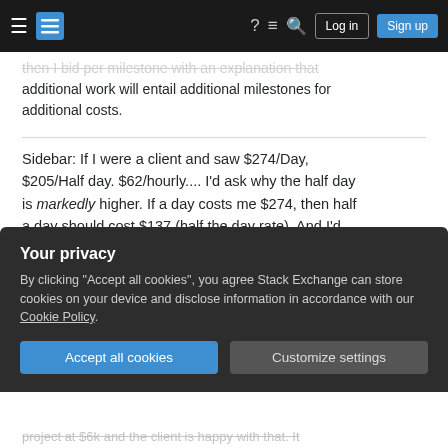Stack Exchange navigation bar with hamburger menu, logo, help, chat, search, Log in, Sign up
then I bid per milestone with an explanation that additional work will entail additional milestones for additional costs.
Sidebar: If I were a client and saw $274/Day, $205/Half day. $62/hourly.... I'd ask why the half day is markedly higher. If a day costs me $274, then half a day should cost $137 (half the day rate). And I'd always, I mean always pay your day rate. I get 8hrs for $274 rather than $496 (8 x $62).
Your privacy
By clicking "Accept all cookies", you agree Stack Exchange can store cookies on your device and disclose information in accordance with our Cookie Policy.
Accept all cookies
Customize settings
project at $6k and the client is happy with that. It makes no difference (to the client) if it does...